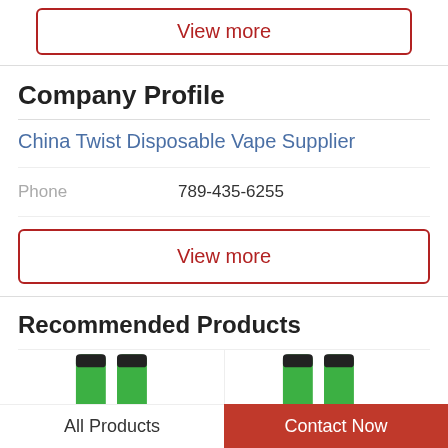View more
Company Profile
China Twist Disposable Vape Supplier
Phone   789-435-6255
View more
Recommended Products
[Figure (photo): Two green disposable vape pens shown from above, side by side]
[Figure (photo): Two green disposable vape pens shown from above, side by side]
All Products
Contact Now